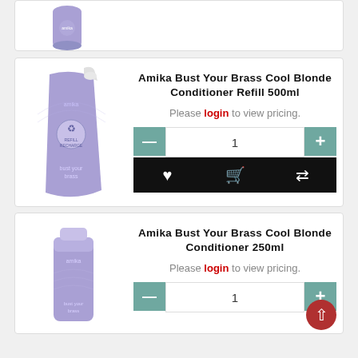[Figure (photo): Partial top product card showing purple hair product bottle (cropped)]
[Figure (photo): Amika Bust Your Brass Cool Blonde Conditioner Refill 500ml purple refill pouch]
Amika Bust Your Brass Cool Blonde Conditioner Refill 500ml
Please login to view pricing.
1
[Figure (photo): Amika Bust Your Brass Cool Blonde Conditioner 250ml purple tube]
Amika Bust Your Brass Cool Blonde Conditioner 250ml
Please login to view pricing.
1